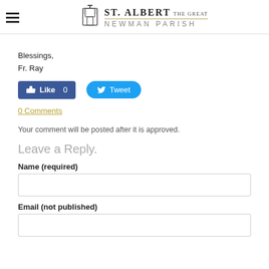St. Albert the Great Newman Parish
Blessings,
Fr. Ray
[Figure (other): Facebook Like button with count 0 and Twitter Tweet button]
0 Comments
Your comment will be posted after it is approved.
Leave a Reply.
Name (required)
Email (not published)